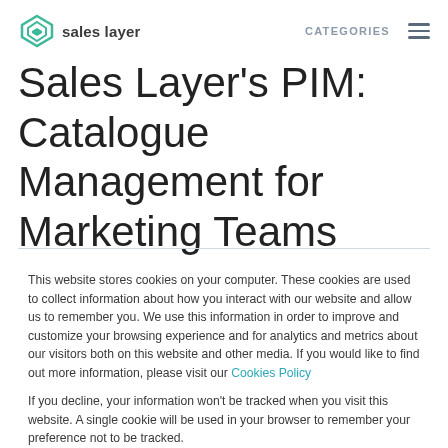Sales Layer  CATEGORIES
Sales Layer's PIM: Catalogue Management for Marketing Teams
This website stores cookies on your computer. These cookies are used to collect information about how you interact with our website and allow us to remember you. We use this information in order to improve and customize your browsing experience and for analytics and metrics about our visitors both on this website and other media. If you would like to find out more information, please visit our Cookies Policy
If you decline, your information won't be tracked when you visit this website. A single cookie will be used in your browser to remember your preference not to be tracked.
Cookies settings   Accept All   Decline All